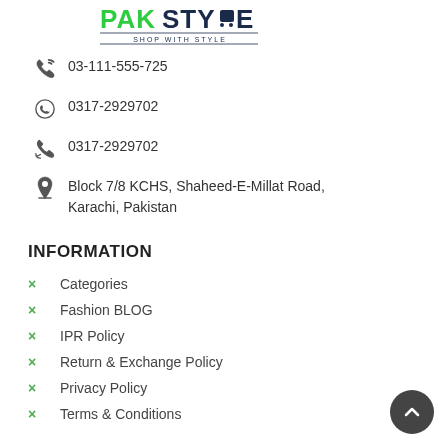[Figure (logo): PakStyle logo with 'SHOP WITH STYLE' tagline in green and dark blue text]
03-111-555-725
0317-2929702
0317-2929702
Block 7/8 KCHS, Shaheed-E-Millat Road, Karachi, Pakistan
INFORMATION
Categories
Fashion BLOG
IPR Policy
Return & Exchange Policy
Privacy Policy
Terms & Conditions